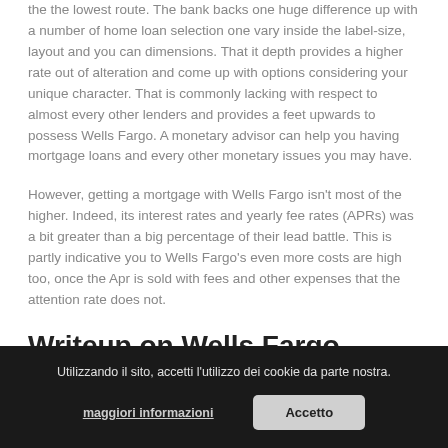the the lowest route. The bank backs one huge difference up with a number of home loan selection one vary inside the label-size, layout and you can dimensions. That it depth provides a higher rate out of alteration and come up with options considering your unique character. That is commonly lacking with respect to almost every other lenders and provides a feet upwards to possess Wells Fargo. A monetary advisor can help you having mortgage loans and every other monetary issues you may have.
However, getting a mortgage with Wells Fargo isn't most of the higher. Indeed, its interest rates and yearly fee rates (APRs) was a bit greater than a big percentage of their lead battle. This is partly indicative you to Wells Fargo's even more costs are high too, once the Apr is sold with fees and other expenses that the attention rate does not.
Writeup on Wells Fargo Mortgage loans
[Figure (screenshot): Dark partial box/screenshot area below the section header, partially visible at bottom of page]
Utilizzando il sito, accetti l'utilizzo dei cookie da parte nostra.
maggiori informazioni   Accetto